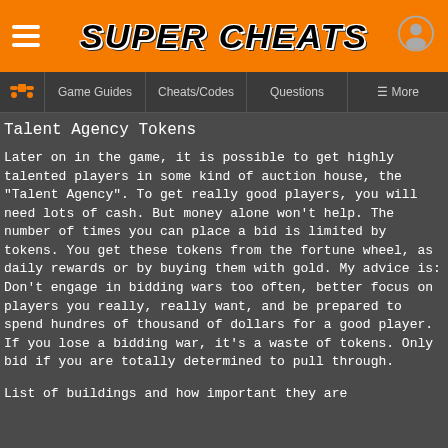SUPER CHEATS
Game Guides | Cheats/Codes | Questions | More
Talent Agency Tokens
Later on in the game, it is possible to get highly talented players in some kind of auction house, the "Talent Agency". To get really good players, you will need lots of cash. But money alone won't help. The number of times you can place a bid is limited by tokens. You get these tokens from the fortune wheel, as daily rewards or by buying them with gold. My advice is: Don't engage in bidding wars too often, better focus on players you really, really want, and be prepared to spend hundres of thousand of dollars for a good player. If you lose a bidding war, it's a waste of tokens. Only bid if you are totally determined to pull through.
List of buildings and how important they are